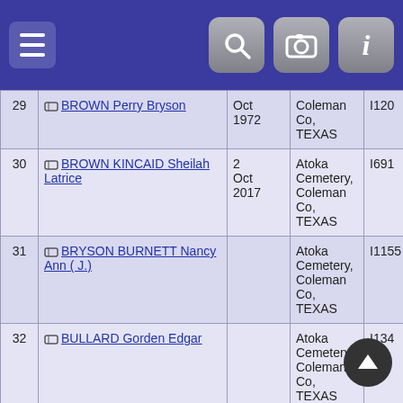Navigation header with hamburger menu and search/camera/info icons
| # | Name | Date | Place | ID |
| --- | --- | --- | --- | --- |
| 29 | BROWN Perry Bryson | Oct 1972 | Coleman Co, TEXAS | I120 |
| 30 | BROWN KINCAID Sheilah Latrice | 2 Oct 2017 | Atoka Cemetery, Coleman Co, TEXAS | I691 |
| 31 | BRYSON BURNETT Nancy Ann ( J.) |  | Atoka Cemetery, Coleman Co, TEXAS | I1155 |
| 32 | BULLARD Gorden Edgar |  | Atoka Cemetery, Coleman Co, TEXAS | I134 |
| 33 | BULLARD Joseph Bradley |  | Atoka Cemetery, Coleman Co, TEXAS | I157 |
| 34 |  |  | Atoka |  |